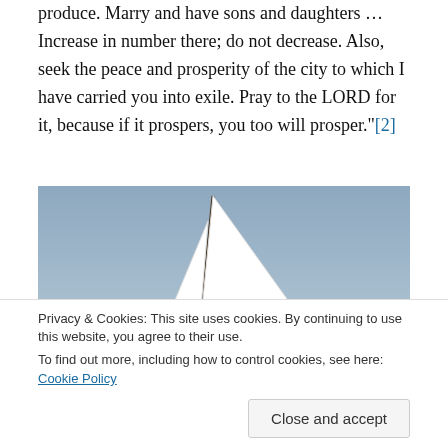produce. Marry and have sons and daughters … Increase in number there; do not decrease. Also, seek the peace and prosperity of the city to which I have carried you into exile. Pray to the LORD for it, because if it prospers, you too will prosper."[2]
[Figure (photo): A sailboat with white sails against a gray-blue sky, photographed from close range showing the sails and mast]
Privacy & Cookies: This site uses cookies. By continuing to use this website, you agree to their use.
To find out more, including how to control cookies, see here: Cookie Policy